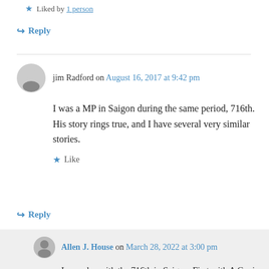★ Liked by 1 person
↪ Reply
jim Radford on August 16, 2017 at 9:42 pm
I was a MP in Saigon during the same period, 716th. His story rings true, and I have several very similar stories.
★ Like
↪ Reply
Allen J. House on March 28, 2022 at 3:00 pm
I was also with the 716th in Saigon. First with A Co. in Cholon, then with B Co. uptown. Was lucky enough work at the